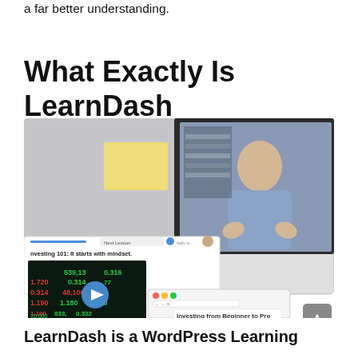a far better understanding.
What Exactly Is LearnDash
[Figure (screenshot): Screenshot of a LearnDash course interface showing a video lesson titled 'Investing 101: It starts with mindset.' overlaid on a laptop screen displaying a man presenting. The interface shows a stock ticker background with numbers like 1.720, 0.314, 539.13, 48.100, 0.314, 0.316, 1.180, 1.190, 0.332, 10.000, 833, 775 and a play button. A browser window shows 'Investing from Beginner to Pro'. A scroll-to-top button is visible in the lower right corner.]
LearnDash is a WordPress Learning